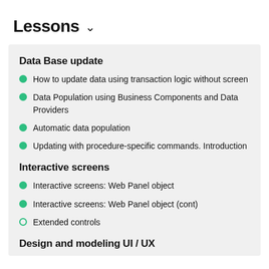Lessons
Data Base update
How to update data using transaction logic without screen
Data Population using Business Components and Data Providers
Automatic data population
Updating with procedure-specific commands. Introduction
Interactive screens
Interactive screens: Web Panel object
Interactive screens: Web Panel object (cont)
Extended controls
Design and modeling UI / UX